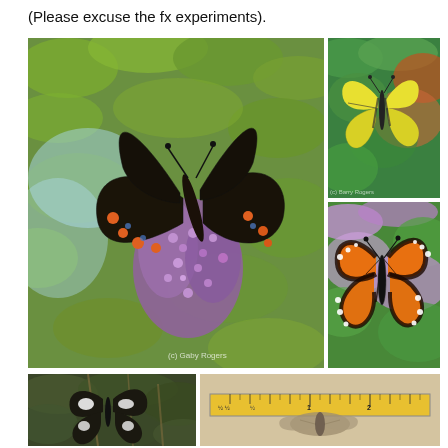(Please excuse the fx experiments).
[Figure (photo): Large photo on left: black and orange-spotted butterfly (Pipevine Swallowtail) on purple butterfly bush flowers with green background. Watermark: (c) Gaby Rogers]
[Figure (photo): Top right photo: Yellow swallowtail butterfly on green foliage with orange flowers. Watermark visible.]
[Figure (photo): Bottom right photo: Monarch butterfly with orange and black wings on purple butterfly bush flowers with green background.]
[Figure (photo): Bottom left photo: Dark butterfly perched among green leaves and branches.]
[Figure (photo): Bottom right photo: Close-up of butterfly specimen next to a ruler/measuring tape showing measurements around 1-5 inches, on beige/tan background.]